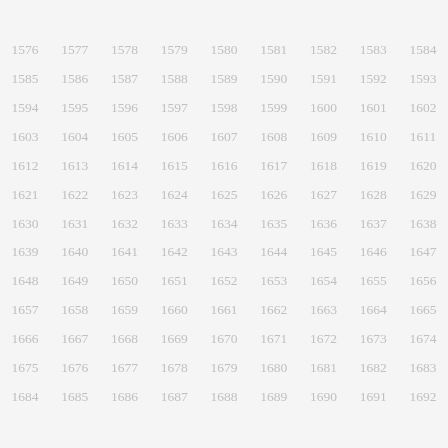| 1576 | 1577 | 1578 | 1579 | 1580 | 1581 | 1582 | 1583 | 1584 |
| 1585 | 1586 | 1587 | 1588 | 1589 | 1590 | 1591 | 1592 | 1593 |
| 1594 | 1595 | 1596 | 1597 | 1598 | 1599 | 1600 | 1601 | 1602 |
| 1603 | 1604 | 1605 | 1606 | 1607 | 1608 | 1609 | 1610 | 1611 |
| 1612 | 1613 | 1614 | 1615 | 1616 | 1617 | 1618 | 1619 | 1620 |
| 1621 | 1622 | 1623 | 1624 | 1625 | 1626 | 1627 | 1628 | 1629 |
| 1630 | 1631 | 1632 | 1633 | 1634 | 1635 | 1636 | 1637 | 1638 |
| 1639 | 1640 | 1641 | 1642 | 1643 | 1644 | 1645 | 1646 | 1647 |
| 1648 | 1649 | 1650 | 1651 | 1652 | 1653 | 1654 | 1655 | 1656 |
| 1657 | 1658 | 1659 | 1660 | 1661 | 1662 | 1663 | 1664 | 1665 |
| 1666 | 1667 | 1668 | 1669 | 1670 | 1671 | 1672 | 1673 | 1674 |
| 1675 | 1676 | 1677 | 1678 | 1679 | 1680 | 1681 | 1682 | 1683 |
| 1684 | 1685 | 1686 | 1687 | 1688 | 1689 | 1690 | 1691 | 1692 |